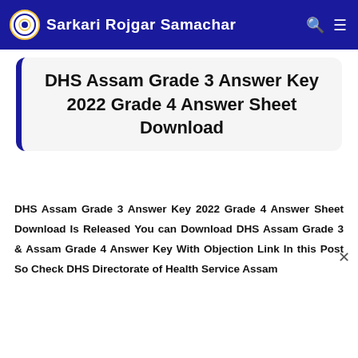Sarkari Rojgar Samachar
DHS Assam Grade 3 Answer Key 2022 Grade 4 Answer Sheet Download
DHS Assam Grade 3 Answer Key 2022 Grade 4 Answer Sheet Download Is Released You can Download DHS Assam Grade 3 & Assam Grade 4 Answer Key With Objection Link In this Post So Check DHS Directorate of Health Service Assam